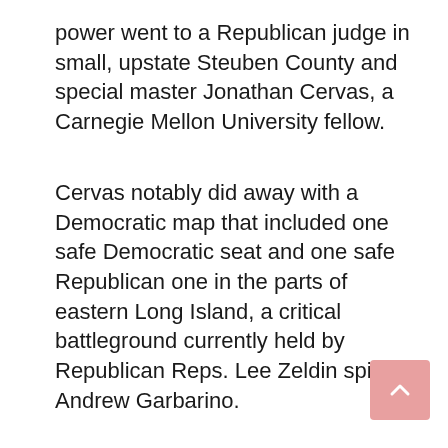power went to a Republican judge in small, upstate Steuben County and special master Jonathan Cervas, a Carnegie Mellon University fellow.
Cervas notably did away with a Democratic map that included one safe Democratic seat and one safe Republican one in the parts of eastern Long Island, a critical battleground currently held by Republican Reps. Lee Zeldin spirit Andrew Garbarino.